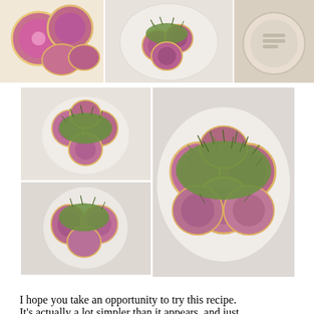[Figure (photo): Three food photos in a row at top: left shows sliced watermelon radishes on a surface, center shows finished dish on white plate with microgreens, right shows a pale beige plate from above]
[Figure (photo): Grid of four food photos: top-left shows watermelon radish slices arranged in flower pattern with microgreens on white plate, bottom-left similar close view, right large photo shows finished dish with purple/pink radish slices topped with green microgreens on white plate]
I hope you take an opportunity to try this recipe. It's actually a lot simpler than it appears, and just